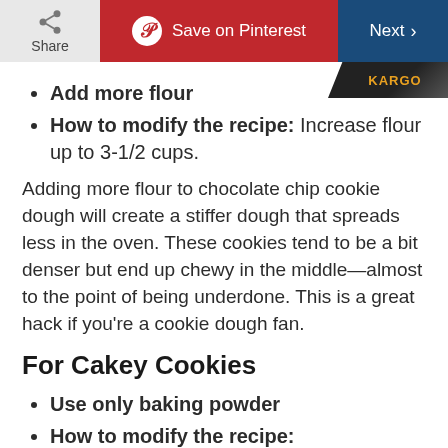Share | Save on Pinterest | Next
Add more flour
How to modify the recipe: Increase flour up to 3-1/2 cups.
Adding more flour to chocolate chip cookie dough will create a stiffer dough that spreads less in the oven. These cookies tend to be a bit denser but end up chewy in the middle—almost to the point of being underdone. This is a great hack if you're a cookie dough fan.
For Cakey Cookies
Use only baking powder
How to modify the recipe: